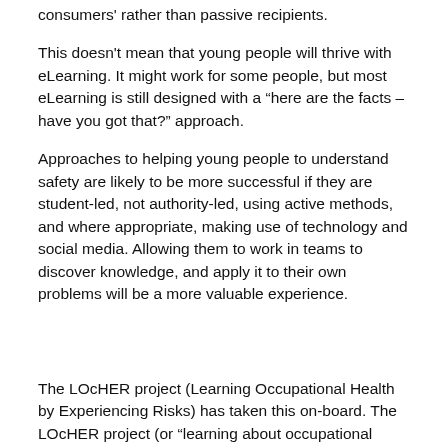consumers' rather than passive recipients.
This doesn't mean that young people will thrive with eLearning. It might work for some people, but most eLearning is still designed with a “here are the facts – have you got that?” approach.
Approaches to helping young people to understand safety are likely to be more successful if they are student-led, not authority-led, using active methods, and where appropriate, making use of technology and social media. Allowing them to work in teams to discover knowledge, and apply it to their own problems will be a more valuable experience.
The LOcHER project (Learning Occupational Health by Experiencing Risks) has taken this on-board. The LOcHER project (or “learning about occupational health by experiencing risks”) has taken these ideas on board. With a steering group that includes the HSE, RoSPA, and Safety Groups UK, LOcHER aims to encourage a positive attitude towards health and safety culture among further education students and apprentices. The idea is